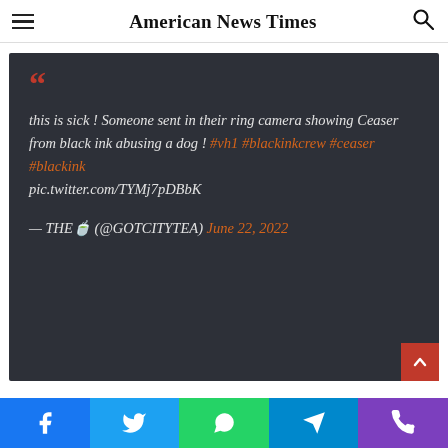American News Times
this is sick ! Someone sent in their ring camera showing Ceaser from black ink abusing a dog ! #vh1 #blackinkcrew #ceaser #blackink pic.twitter.com/TYMj7pDBbK — THE🍵 (@GOTCITYTEA) June 22, 2022